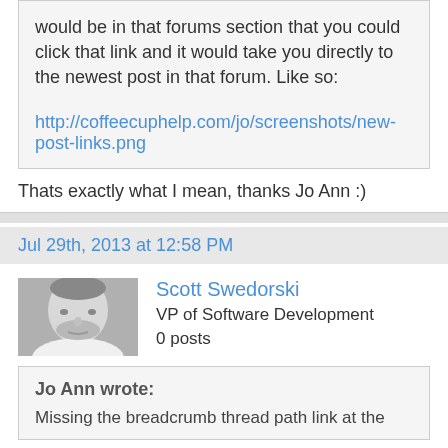would be in that forums section that you could click that link and it would take you directly to the newest post in that forum. Like so:

http://coffeecuphelp.com/jo/screenshots/new-post-links.png
Thats exactly what I mean, thanks Jo Ann :)
Jul 29th, 2013 at 12:58 PM
[Figure (photo): Black and white headshot photo of Scott Swedorski]
Scott Swedorski
VP of Software Development
0 posts
Jo Ann wrote:
Missing the breadcrumb thread path link at the